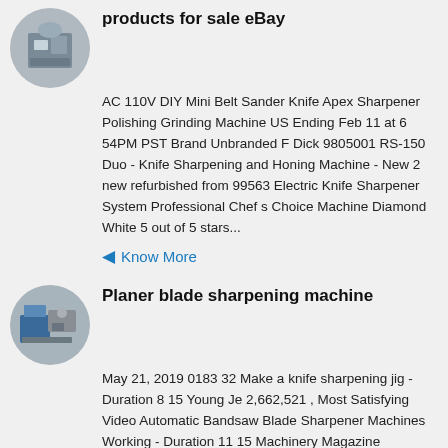[Figure (photo): Circular thumbnail image of a building/stone structure]
products for sale eBay
AC 110V DIY Mini Belt Sander Knife Apex Sharpener Polishing Grinding Machine US Ending Feb 11 at 6 54PM PST Brand Unbranded F Dick 9805001 RS-150 Duo - Knife Sharpening and Honing Machine - New 2 new refurbished from 99563 Electric Knife Sharpener System Professional Chef s Choice Machine Diamond White 5 out of 5 stars...
Know More
[Figure (photo): Circular thumbnail image of industrial machinery/planer machine]
Planer blade sharpening machine
May 21, 2019 0183 32 Make a knife sharpening jig - Duration 8 15 Young Je 2,662,521 , Most Satisfying Video Automatic Bandsaw Blade Sharpener Machines Working - Duration 11 15 Machinery Magazine 2,685,863 ....
Know More